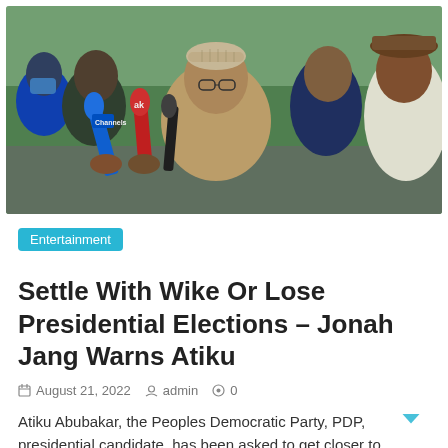[Figure (photo): Group of men, one in center speaking into multiple microphones held up by media personnel, wearing a patterned cap and beige outfit. Others stand behind including a man in white to the right and men in dark clothing to the left.]
Entertainment
Settle With Wike Or Lose Presidential Elections – Jonah Jang Warns Atiku
August 21, 2022   admin   0
Atiku Abubakar, the Peoples Democratic Party, PDP, presidential candidate, has been asked to get closer to Nyesom Wike. Atiku was urged